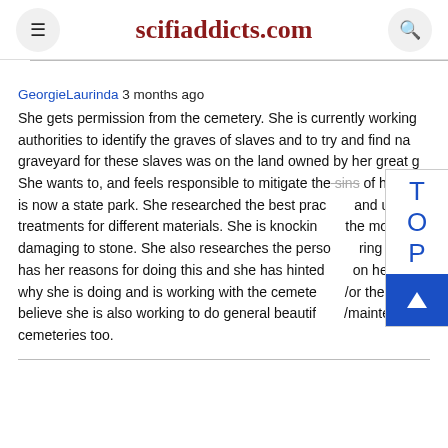scifiaddicts.com
GeorgieLaurinda 3 months ago
She gets permission from the cemetery. She is currently working authorities to identify the graves of slaves and to try and find na graveyard for these slaves was on the land owned by her great g She wants to, and feels responsible to mitigate the sins of her an is now a state park. She researched the best prac and uses d treatments for different materials. She is knockin the moss damaging to stone. She also researches the perso ring their has her reasons for doing this and she has hinted on her Tik- why she is doing and is working with the cemete /or the o believe she is also working to do general beautif /maintena cemeteries too.